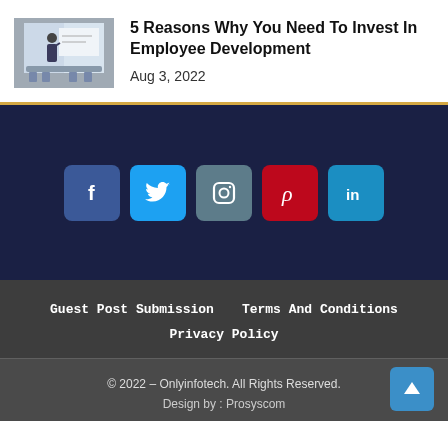[Figure (photo): Thumbnail photo of a person in a meeting room writing on a whiteboard]
5 Reasons Why You Need To Invest In Employee Development
Aug 3, 2022
[Figure (infographic): Social media icons: Facebook, Twitter, Instagram, Pinterest, LinkedIn on dark navy background]
Guest Post Submission   Terms And Conditions   Privacy Policy
© 2022 – Onlyinfotech. All Rights Reserved.
Design by : Prosyscom